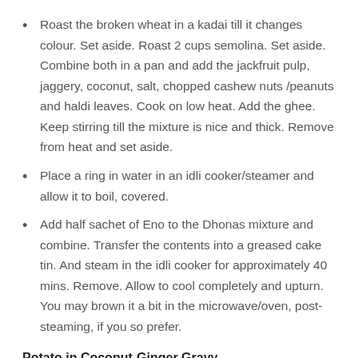Roast the broken wheat in a kadai till it changes colour. Set aside. Roast 2 cups semolina. Set aside. Combine both in a pan and add the jackfruit pulp, jaggery, coconut, salt, chopped cashew nuts /peanuts and haldi leaves. Cook on low heat. Add the ghee. Keep stirring till the mixture is nice and thick. Remove from heat and set aside.
Place a ring in water in an idli cooker/steamer and allow it to boil, covered.
Add half sachet of Eno to the Dhonas mixture and combine. Transfer the contents into a greased cake tin. And steam in the idli cooker for approximately 40 mins. Remove. Allow to cool completely and upturn. You may brown it a bit in the microwave/oven, post-steaming, if you so prefer.
Potato in Coconut-Ginger Gravy